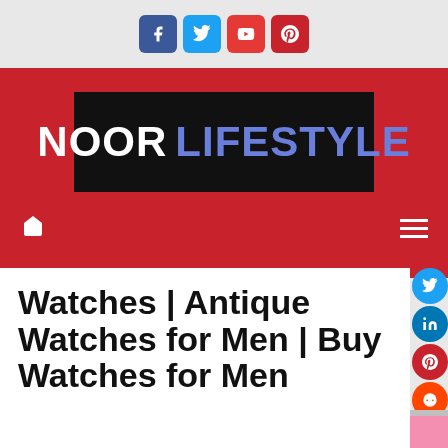[Figure (logo): Social media share icons: Facebook (blue), Twitter (light blue), YouTube (red), Pinterest (dark red)]
[Figure (logo): Noor Lifestyle logo – white 'NOOR' and blue 'LIFESTYLE' text on black background, within red header band]
[Figure (infographic): Navigation bar with white home icon on left and white hamburger menu on right, on red background]
[Figure (infographic): Right-side floating social share buttons: Twitter, LinkedIn, Pinterest, Reddit, WhatsApp, Email (circular icons)]
Watches | Antique Watches for Men | Buy Watches for Men